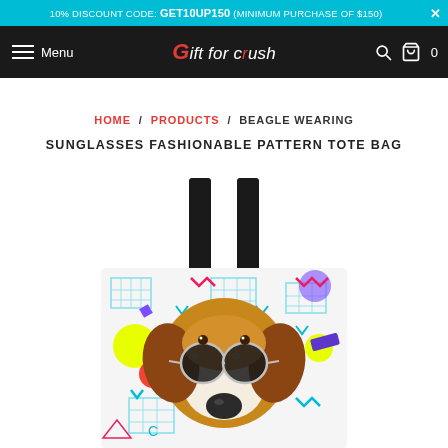10% DISCOUNT CODE: GET10UP150 (MINIMUM PURCHASE OF $150) ×
Menu | Gift for crush | [search icon] [cart icon] 0
HOME / PRODUCTS / BEAGLE WEARING SUNGLASSES FASHIONABLE PATTERN TOTE BAG
BEAGLE WEARING SUNGLASSES FASHIONABLE PATTERN TOTE BAG
[Figure (photo): A beagle dog wearing heart-shaped silver sunglasses printed on a tote bag with colorful retro 90s pattern background featuring geometric shapes, zigzags, circles and grid patterns in bright colors. The tote bag has black straps.]